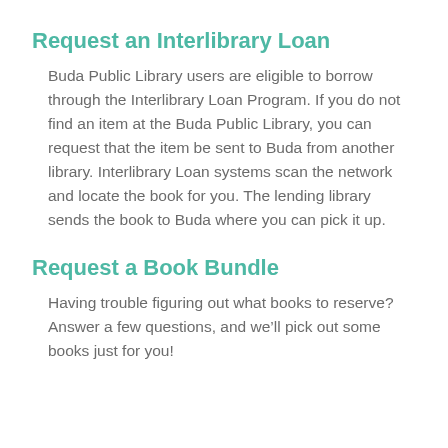Request an Interlibrary Loan
Buda Public Library users are eligible to borrow through the Interlibrary Loan Program. If you do not find an item at the Buda Public Library, you can request that the item be sent to Buda from another library. Interlibrary Loan systems scan the network and locate the book for you. The lending library sends the book to Buda where you can pick it up.
Request a Book Bundle
Having trouble figuring out what books to reserve? Answer a few questions, and we’ll pick out some books just for you!